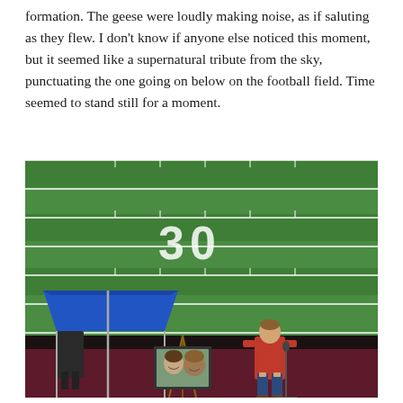formation. The geese were loudly making noise, as if saluting as they flew. I don't know if anyone else noticed this moment, but it seemed like a supernatural tribute from the sky, punctuating the one going on below on the football field. Time seemed to stand still for a moment.
[Figure (photo): Aerial view of a football field showing the 30-yard line. In the foreground on the track area, a young man in a red shirt and jeans stands at a microphone. To his left is a blue canopy tent and an easel holding a framed photograph of two people. Another person stands in shadow under the tent.]